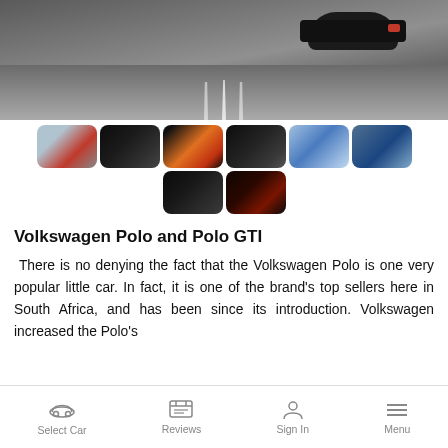[Figure (photo): Main hero image of a Volkswagen Polo GTI driving on a road, shot from behind at speed with motion blur]
[Figure (photo): Thumbnail gallery: red VW Polo on road, interior dashboard, tablet/infotainment, steering wheel view, blue Polo rear, blue Polo side, dashboard controls, red screen display]
Volkswagen Polo and Polo GTI
There is no denying the fact that the Volkswagen Polo is one very popular little car. In fact, it is one of the brand's top sellers here in South Africa, and has been since its introduction. Volkswagen increased the Polo's
Select Car   Reviews   Sign In   Menu